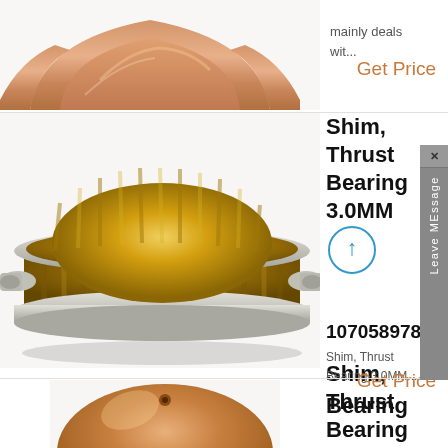[Figure (photo): Top: partial view of a copper/bronze bearing arc/shell against white background]
mainly deals wit...
Get Price
[Figure (photo): A large circular gold/brass thrust bearing shim ring with ridged surfaces and two side lugs, viewed from slightly above]
Shim, Thrust Bearing 3.0MM
1070589788
Shim, Thrust Bearing 3.0MM....
Get Price
[Figure (photo): Sidebar UI element with X close button and 'Leave MEssage' text rotated vertically]
Bearing
[Figure (photo): Bottom: partial view of a copper/bronze spherical bearing component]